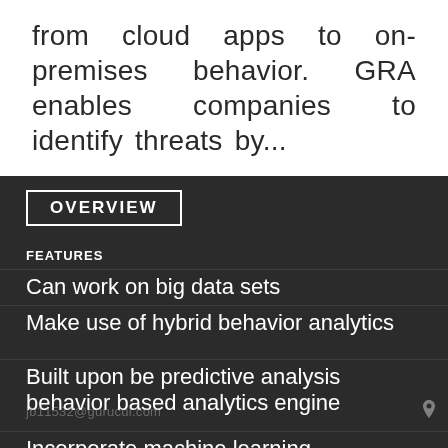from cloud apps to on-premises behavior. GRA enables companies to identify threats by...
OVERVIEW
FEATURES
Can work on big data sets
Make use of hybrid behavior analytics
Built upon be predictive analysis behavior based analytics engine
Incorporate machine learning